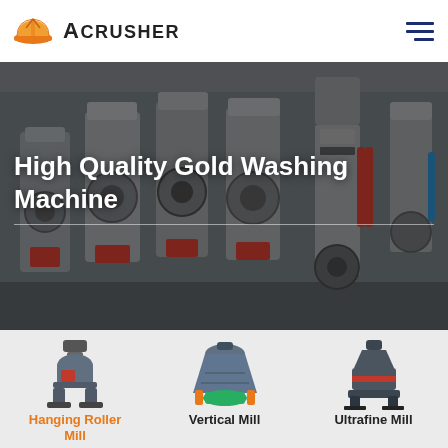[Figure (logo): Acrusher logo with orange hard hat icon and bold uppercase ACRUSHER text, hamburger menu icon top right]
[Figure (photo): Industrial factory floor with multiple large grey grinding/milling machines lined up in a row. Hero banner with white text overlay reading 'High Quality Gold Washing Machine' and a horizontal divider line.]
High Quality Gold Washing Machine
[Figure (photo): Hanging Roller Mill machine product photo - dark grey industrial grinder]
[Figure (photo): Vertical Mill machine product photo - blue-grey industrial mill with orange accents]
[Figure (photo): Ultrafine Mill machine product photo - compact dark mill]
Hanging Roller Mill
Vertical Mill
Ultrafine Mill